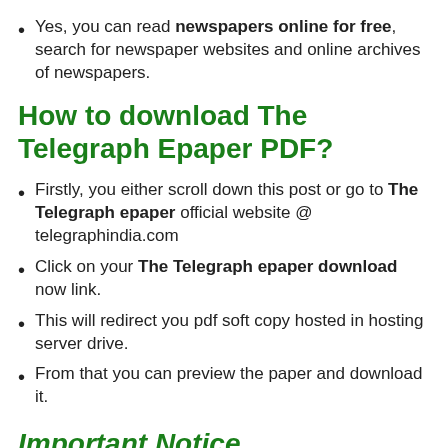Yes, you can read newspapers online for free, search for newspaper websites and online archives of newspapers.
How to download The Telegraph Epaper PDF?
Firstly, you either scroll down this post or go to The Telegraph epaper official website @ telegraphindia.com
Click on your The Telegraph epaper download now link.
This will redirect you pdf soft copy hosted in hosting server drive.
From that you can preview the paper and download it.
Important Notice